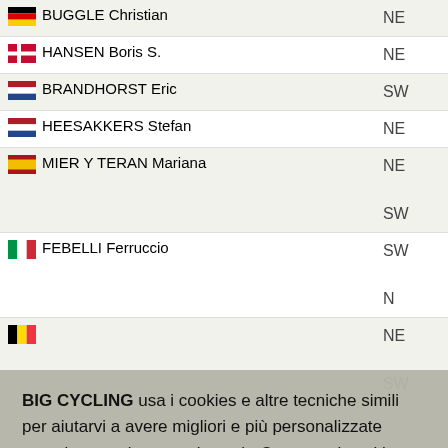| Name | Code |
| --- | --- |
| BUGGLE Christian | NE |
| HANSEN Boris S. | NE |
| BRANDHORST Eric | SW |
| HEESAKKERS Stefan | NE |
| MIER Y TERAN Mariana | NE
SW |
| FEBELLI Ferruccio | SW
N |
| [partial row with flag] | NE
SW |
BIG CYCLING usa i cookies e altre tecniche simili per aiutarvi a avere migliori e più personalizzate esperienze sul nostro sito web. Con questi cookies BIG CYCLING e terze parti seguiranno e memorizzeranno il tuo comportamento internet sul nostro sito
ACCETTO